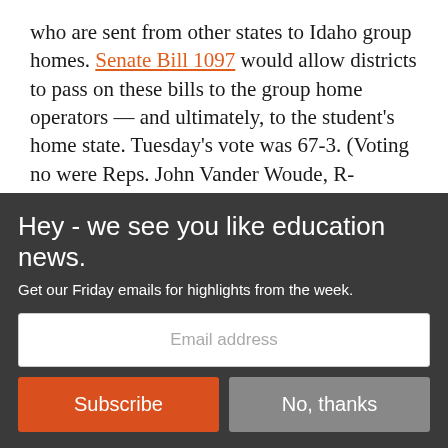who are sent from other states to Idaho group homes. Senate Bill 1097 would allow districts to pass on these bills to the group home operators — and ultimately, to the student's home state. Tuesday's vote was 67-3. (Voting no were Reps. John Vander Woude, R-Nampa; Barrett and Wood.) The bill goes to Otter's desk.
Fiscal emergencies. On a 35-0 vote, the Senate OK's Senate Bill 1146, an Idaho Education Association
Hey - we see you like education news.
Get our Friday emails for highlights from the week.
Email address
Subscribe
No, thanks